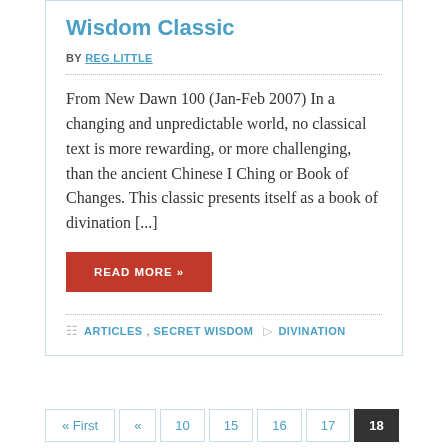Wisdom Classic
BY REG LITTLE
From New Dawn 100 (Jan-Feb 2007) In a changing and unpredictable world, no classical text is more rewarding, or more challenging, than the ancient Chinese I Ching or Book of Changes. This classic presents itself as a book of divination [...]
READ MORE »
ARTICLES, SECRET WISDOM   DIVINATION
« First  «  10  15  16  17  18